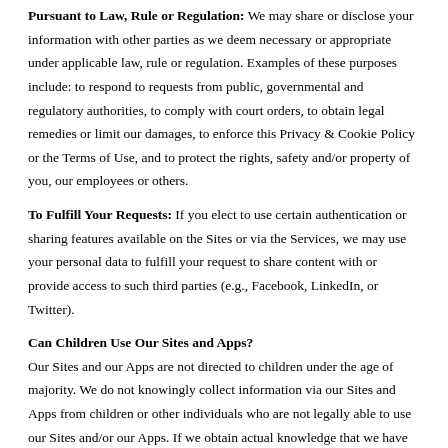Pursuant to Law, Rule or Regulation: We may share or disclose your information with other parties as we deem necessary or appropriate under applicable law, rule or regulation. Examples of these purposes include: to respond to requests from public, governmental and regulatory authorities, to comply with court orders, to obtain legal remedies or limit our damages, to enforce this Privacy & Cookie Policy or the Terms of Use, and to protect the rights, safety and/or property of you, our employees or others.
To Fulfill Your Requests: If you elect to use certain authentication or sharing features available on the Sites or via the Services, we may use your personal data to fulfill your request to share content with or provide access to such third parties (e.g., Facebook, LinkedIn, or Twitter).
Can Children Use Our Sites and Apps?
Our Sites and our Apps are not directed to children under the age of majority. We do not knowingly collect information via our Sites and Apps from children or other individuals who are not legally able to use our Sites and/or our Apps. If we obtain actual knowledge that we have collected personal data